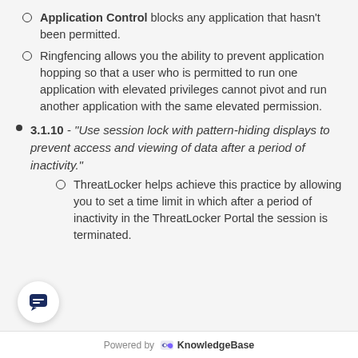Application Control blocks any application that hasn't been permitted.
Ringfencing allows you the ability to prevent application hopping so that a user who is permitted to run one application with elevated privileges cannot pivot and run another application with the same elevated permission.
3.1.10 - "Use session lock with pattern-hiding displays to prevent access and viewing of data after a period of inactivity."
ThreatLocker helps achieve this practice by allowing you to set a time limit in which after a period of inactivity in the ThreatLocker Portal the session is terminated.
Powered by KnowledgeBase